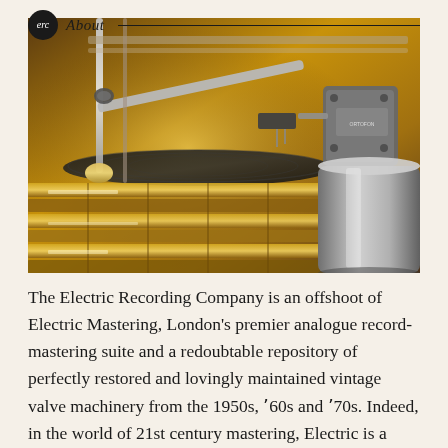About
[Figure (photo): Close-up photograph of a vintage record lathe / disc-cutting machine with golden brass components, a tonearm, cutting head, and stylus, bathed in warm amber light.]
The Electric Recording Company is an offshoot of Electric Mastering, London's premier analogue record-mastering suite and a redoubtable repository of perfectly restored and lovingly maintained vintage valve machinery from the 1950s, '60s and '70s. Indeed, in the world of 21st century mastering, Electric is a wonderful